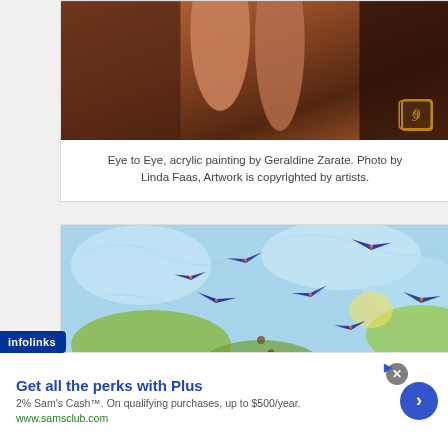[Figure (photo): Close-up of acrylic painting 'Eye to Eye' by Geraldine Zarate, showing warm brown and orange tones with figure forms, artist mark in bottom right corner]
Eye to Eye, acrylic painting by Geraldine Zarate. Photo by Linda Faas, Artwork is copyrighted by artists.
[Figure (photo): Colorful painting showing multiple swallow/bird figures with blue-purple wings and orange accents flying against a blue sky with green land masses below, swirling pattern background]
infolinks
Get all the perks with Plus
2% Sam's Cash™. On qualifying purchases, up to $500/year.
www.samsclub.com